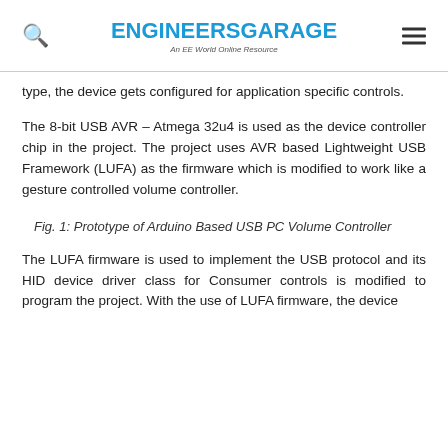ENGINEERS GARAGE — An EE World Online Resource
type, the device gets configured for application specific controls.
The 8-bit USB AVR – Atmega 32u4 is used as the device controller chip in the project. The project uses AVR based Lightweight USB Framework (LUFA) as the firmware which is modified to work like a gesture controlled volume controller.
Fig. 1: Prototype of Arduino Based USB PC Volume Controller
The LUFA firmware is used to implement the USB protocol and its HID device driver class for Consumer controls is modified to program the project. With the use of LUFA firmware, the device